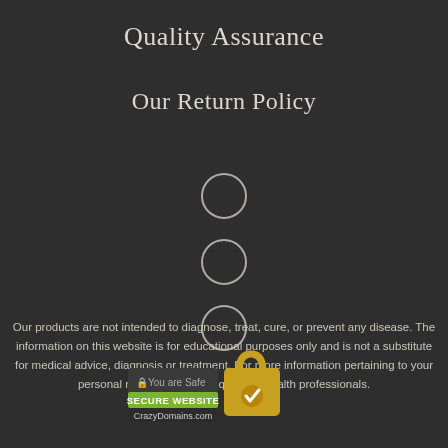Quality Assurance
Our Return Policy
[Figure (illustration): Three empty circle radio button outlines stacked vertically]
Our products are not intended to diagnose, treat, cure, or prevent any disease. The information on this website is for educational purposes only and is not a substitute for medical advice, diagnosis or treatment. For more information pertaining to your personal needs please see qualified health professionals.
[Figure (logo): Secure website badge with CrazyDomains.com lock icon and 'You are Safe' text with green SECURE WEBSITE banner]